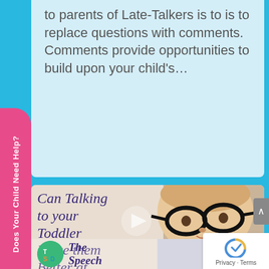to parents of Late-Talkers is to is to replace questions with comments. Comments provide opportunities to build upon your child's…
Does Your Child Need Help?
[Figure (illustration): Article thumbnail showing a toddler wearing large black-rimmed glasses looking upward, with italic purple text overlay reading 'Can Talking to your Toddler Make them Better at Math?' and a 'The Speech' brand logo at the bottom.]